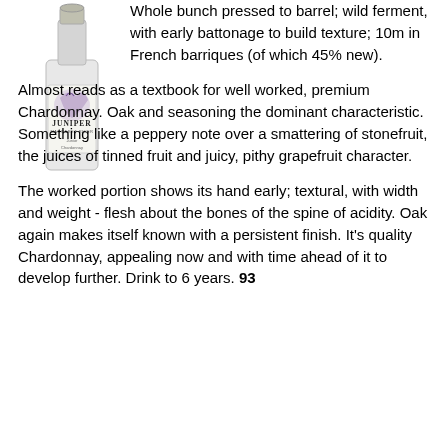[Figure (photo): Wine bottle with Juniper Margaret River label, Chardonnay variety]
Whole bunch pressed to barrel; wild ferment, with early battonage to build texture; 10m in French barriques (of which 45% new).
Almost reads as a textbook for well worked, premium Chardonnay. Oak and seasoning the dominant characteristic. Something like a peppery note over a smattering of stonefruit, the juices of tinned fruit and juicy, pithy grapefruit character.
The worked portion shows its hand early; textural, with width and weight - flesh about the bones of the spine of acidity. Oak again makes itself known with a persistent finish. It's quality Chardonnay, appealing now and with time ahead of it to develop further. Drink to 6 years. 93